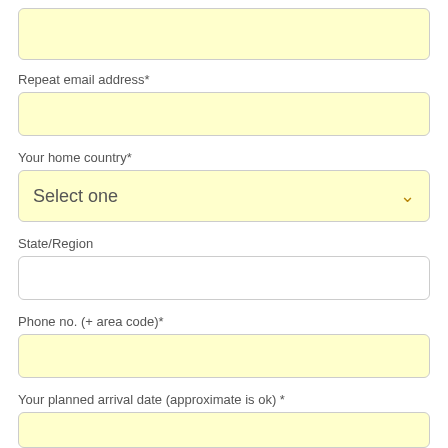[Figure (other): Empty yellow input field (top of page, partial)]
Repeat email address*
[Figure (other): Yellow input field for repeat email address]
Your home country*
[Figure (other): Yellow dropdown select field showing 'Select one' with chevron]
State/Region
[Figure (other): White input field for State/Region]
Phone no. (+ area code)*
[Figure (other): Yellow input field for phone number]
Your planned arrival date (approximate is ok) *
[Figure (other): Yellow input field for arrival date (partially visible)]